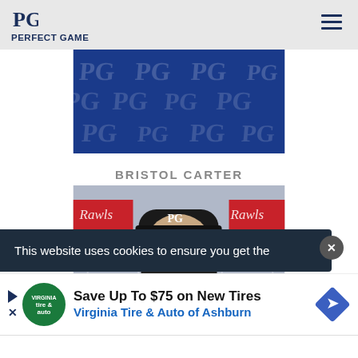PG PERFECT GAME
[Figure (logo): Perfect Game logo repeated pattern on blue background banner]
BRISTOL CARTER
[Figure (photo): Young baseball player wearing black PG cap and jersey, photographed in front of Rawlings backdrop at Perfect Game event]
This website uses cookies to ensure you get the
[Figure (infographic): Advertisement: Save Up To $75 on New Tires - Virginia Tire & Auto of Ashburn]